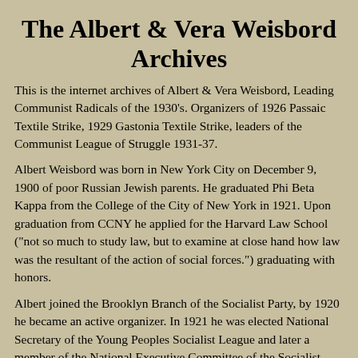The Albert & Vera Weisbord Archives
This is the internet archives of Albert & Vera Weisbord, Leading Communist Radicals of the 1930's. Organizers of 1926 Passaic Textile Strike, 1929 Gastonia Textile Strike, leaders of the Communist League of Struggle 1931-37.
Albert Weisbord was born in New York City on December 9, 1900 of poor Russian Jewish parents. He graduated Phi Beta Kappa from the College of the City of New York in 1921. Upon graduation from CCNY he applied for the Harvard Law School ("not so much to study law, but to examine at close hand how law was the resultant of the action of social forces.") graduating with honors.
Albert joined the Brooklyn Branch of the Socialist Party, by 1920 he became an active organizer. In 1921 he was elected National Secretary of the Young Peoples Socialist League and later a member of the National Executive Committee of the Socialist Party. In 1924 he was a delegate to the Convention of the Conference for Progressive Political Action. Soon he would resign from the Socialist Party to join the Workers (Communist) Party. He